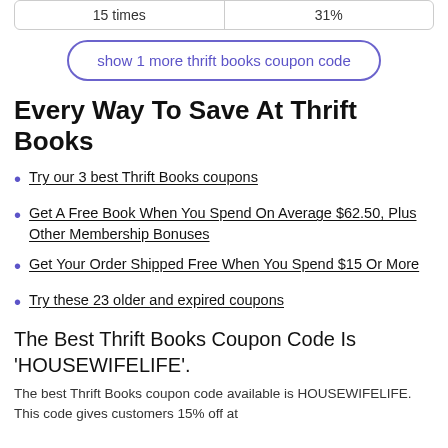|  |  |
| --- | --- |
| 15 times | 31% |
show 1 more thrift books coupon code
Every Way To Save At Thrift Books
Try our 3 best Thrift Books coupons
Get A Free Book When You Spend On Average $62.50, Plus Other Membership Bonuses
Get Your Order Shipped Free When You Spend $15 Or More
Try these 23 older and expired coupons
The Best Thrift Books Coupon Code Is 'HOUSEWIFELIFE'.
The best Thrift Books coupon code available is HOUSEWIFELIFE. This code gives customers 15% off at